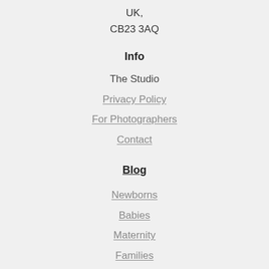UK,
CB23 3AQ
Info
The Studio
Privacy Policy
For Photographers
Contact
Blog
Newborns
Babies
Maternity
Families
+44 (0) 778 7397755